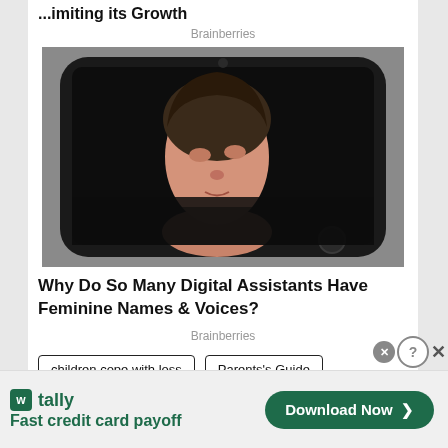...imiting its Growth
Brainberries
[Figure (photo): A woman's face emerging from the dark screen of a smartphone laid flat, surreal digital art]
Why Do So Many Digital Assistants Have Feminine Names & Voices?
Brainberries
children cope with loss
Parents's Guide
[Figure (infographic): Tally app advertisement — Fast credit card payoff with Download Now button]